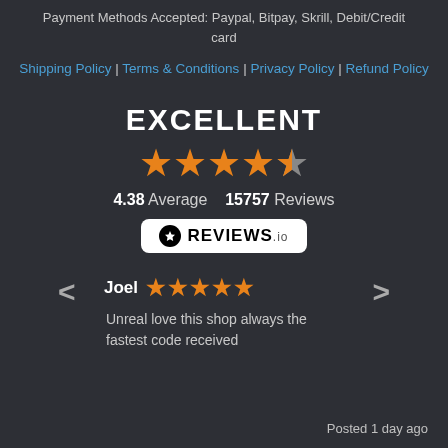Payment Methods Accepted: Paypal, Bitpay, Skrill, Debit/Credit card
Shipping Policy | Terms & Conditions | Privacy Policy | Refund Policy
[Figure (infographic): EXCELLENT rating widget with 4.5 orange stars, 4.38 Average 15757 Reviews, and REVIEWS.io badge]
Joel ★★★★★ Unreal love this shop always the fastest code received
Posted 1 day ago